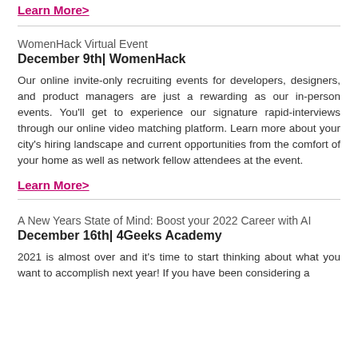Learn More>
WomenHack Virtual Event
December 9th| WomenHack
Our online invite-only recruiting events for developers, designers, and product managers are just a rewarding as our in-person events. You'll get to experience our signature rapid-interviews through our online video matching platform. Learn more about your city's hiring landscape and current opportunities from the comfort of your home as well as network fellow attendees at the event.
Learn More>
A New Years State of Mind: Boost your 2022 Career with AI
December 16th| 4Geeks Academy
2021 is almost over and it's time to start thinking about what you want to accomplish next year! If you have been considering a